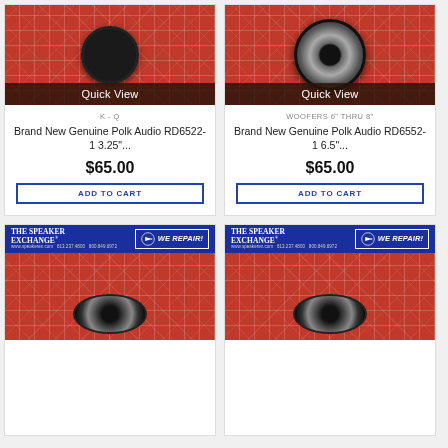[Figure (photo): Product image of a small speaker on red grid background with Quick View overlay, card 1]
K - Q
Brand New Genuine Polk Audio RD6522-1 3.25"...
$65.00
ADD TO CART
[Figure (photo): Product image of a larger woofer speaker on red grid background with Quick View overlay, card 2]
WOOFERS 6" THRU 8"
Brand New Genuine Polk Audio RD6552-1 6.5"...
$65.00
ADD TO CART
[Figure (photo): Bottom left product card showing The Speaker Exchange label and speaker part on red grid background]
[Figure (photo): Bottom right product card showing The Speaker Exchange label and speaker part on red grid background]